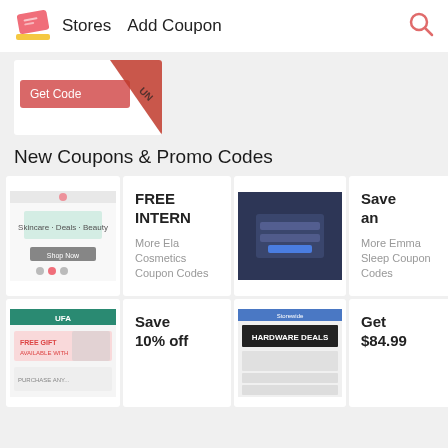Stores  Add Coupon
[Figure (screenshot): Partially visible coupon card with 'Get Code' button in salmon/red color and a diagonal cut revealing a code underneath]
New Coupons & Promo Codes
[Figure (screenshot): Ela Cosmetics store thumbnail image]
FREE INTERN
More Ela Cosmetics Coupon Codes
[Figure (screenshot): Emma Sleep store thumbnail - dark blue background with login form overlay]
Save an
More Emma Sleep Coupon Codes
[Figure (screenshot): Second row store thumbnail with green header and free gift offer]
Save 10% off
[Figure (screenshot): Second row last store thumbnail]
Get $84.99